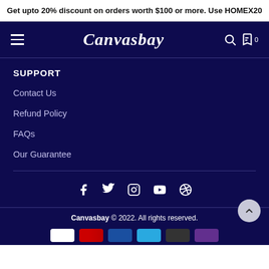Get upto 20% discount on orders worth $100 or more. Use HOMEX20
[Figure (screenshot): Canvasbay navigation bar with hamburger menu, logo, search and cart icons]
SUPPORT
Contact Us
Refund Policy
FAQs
Our Guarantee
[Figure (infographic): Social media icons: Facebook, Twitter, Instagram, YouTube, Pinterest]
Canvasbay © 2022. All rights reserved.